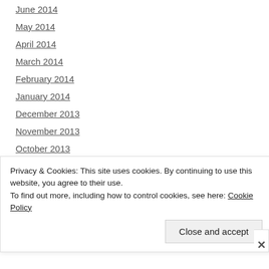June 2014
May 2014
April 2014
March 2014
February 2014
January 2014
December 2013
November 2013
October 2013
September 2013
August 2013
July 2013
June 2013
Privacy & Cookies: This site uses cookies. By continuing to use this website, you agree to their use.
To find out more, including how to control cookies, see here: Cookie Policy
Close and accept